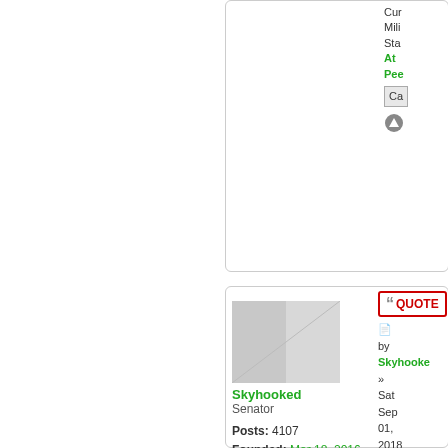[Figure (screenshot): Top forum panel showing partially visible user sidebar with green status text (At, Pea), Ca button, and up arrow icon]
[Figure (screenshot): Bottom forum post panel with EX-NATION avatar placeholder image for user Skyhooked]
Skyhooked
Senator
Posts: 4107
Founded: Mar 18, 2016
Ex-Nation
QUOTE
by
Skyhooked
»
Sat Sep 01, 2018 2:19 pm